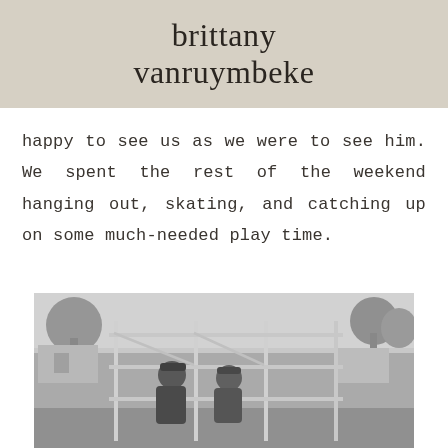brittany vanruymbeke
happy to see us as we were to see him. We spent the rest of the weekend hanging out, skating, and catching up on some much-needed play time.
[Figure (photo): Black and white photograph of two people sitting inside a metal playground structure in a park, with bare winter trees and buildings in the background.]